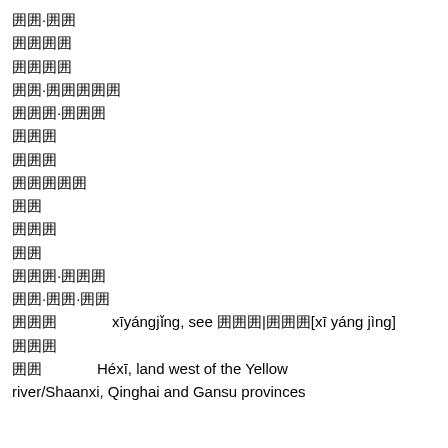囲囲·囲囲
囲囲囲囲
囲囲囲囲
囲囲·囲囲囲囲囲
囲囲囲·囲囲囲
囲囲囲
囲囲囲
囲囲囲囲囲
囲囲
囲囲囲
囲囲
囲囲囲·囲囲囲
囲囲·囲囲·囲囲
囲囲囲        xīyángjǐng, see 囲囲囲|囲囲囲[xī yáng jìng]
囲囲囲
囲囲        Héxī, land west of the Yellow river/Shaanxi, Qinghai and Gansu provinces